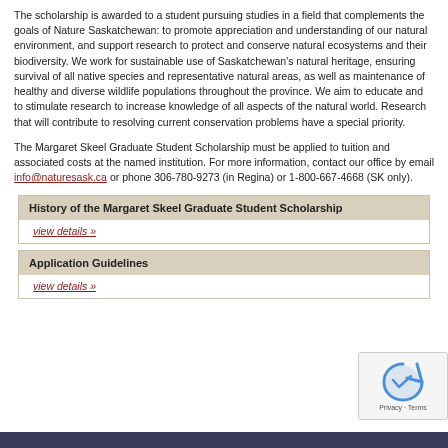The scholarship is awarded to a student pursuing studies in a field that complements the goals of Nature Saskatchewan: to promote appreciation and understanding of our natural environment, and support research to protect and conserve natural ecosystems and their biodiversity. We work for sustainable use of Saskatchewan's natural heritage, ensuring survival of all native species and representative natural areas, as well as maintenance of healthy and diverse wildlife populations throughout the province. We aim to educate and to stimulate research to increase knowledge of all aspects of the natural world. Research that will contribute to resolving current conservation problems have a special priority.
The Margaret Skeel Graduate Student Scholarship must be applied to tuition and associated costs at the named institution. For more information, contact our office by email info@naturesask.ca or phone 306-780-9273 (in Regina) or 1-800-667-4668 (SK only).
History of the Margaret Skeel Graduate Student Scholarship
view details »
Application Guidelines
view details »